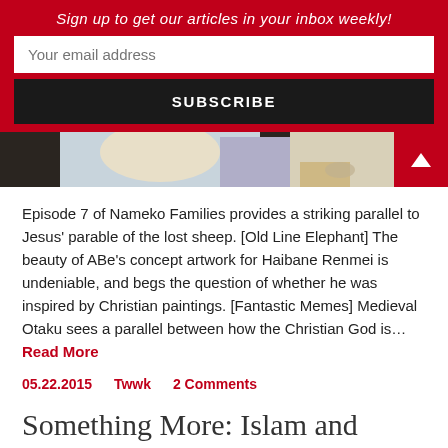Sign up to get our articles in your inbox weekly!
Your email address
SUBSCRIBE
[Figure (illustration): Partial anime screenshot showing characters with food, partially visible. Red scroll-to-top button with triangle arrow on the right.]
Episode 7 of Nameko Families provides a striking parallel to Jesus' parable of the lost sheep. [Old Line Elephant] The beauty of ABe's concept artwork for Haibane Renmei is undeniable, and begs the question of whether he was inspired by Christian paintings. [Fantastic Memes] Medieval Otaku sees a parallel between how the Christian God is… Read More
05.22.2015    Twwk    2 Comments
Something More: Islam and